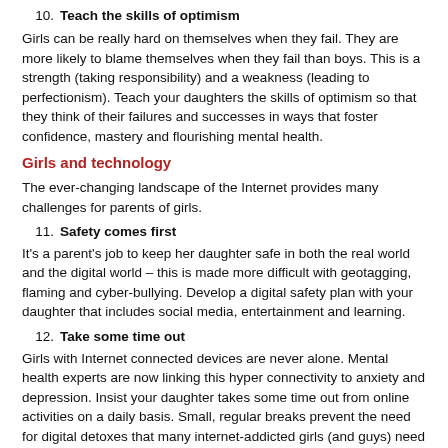10. Teach the skills of optimism
Girls can be really hard on themselves when they fail. They are more likely to blame themselves when they fail than boys. This is a strength (taking responsibility) and a weakness (leading to perfectionism). Teach your daughters the skills of optimism so that they think of their failures and successes in ways that foster confidence, mastery and flourishing mental health.
Girls and technology
The ever-changing landscape of the Internet provides many challenges for parents of girls.
11. Safety comes first
It's a parent's job to keep her daughter safe in both the real world and the digital world – this is made more difficult with geotagging, flaming and cyber-bullying. Develop a digital safety plan with your daughter that includes social media, entertainment and learning.
12. Take some time out
Girls with Internet connected devices are never alone. Mental health experts are now linking this hyper connectivity to anxiety and depression. Insist your daughter takes some time out from online activities on a daily basis. Small, regular breaks prevent the need for digital detoxes that many internet-addicted girls (and guys) need for them to maintain a semblance of balance.